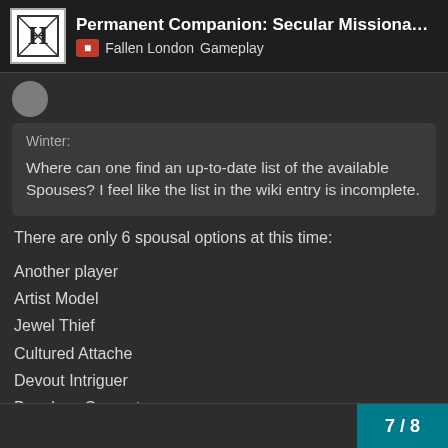Permanent Companion: Secular Missionary inco… | Fallen London | Gameplay
Winter:
Where can one find an up-to-date list of the available Spouses? I feel like the list in the wiki entry is incomplete.
There are only 6 spousal options at this time:
Another player
Artist Model
Jewel Thief
Cultured Attache
Devout Intriguer
Boneless Consort
7 / 8